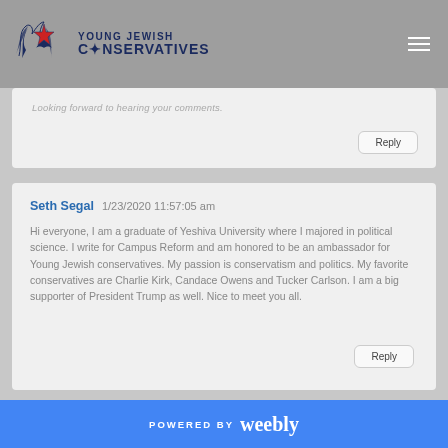Young Jewish Conservatives
Looking forward to hearing your comments.
Reply
Seth Segal  1/23/2020 11:57:05 am

Hi everyone, I am a graduate of Yeshiva University where I majored in political science. I write for Campus Reform and am honored to be an ambassador for Young Jewish conservatives. My passion is conservatism and politics. My favorite conservatives are Charlie Kirk, Candace Owens and Tucker Carlson. I am a big supporter of President Trump as well. Nice to meet you all.
Reply
POWERED BY weebly